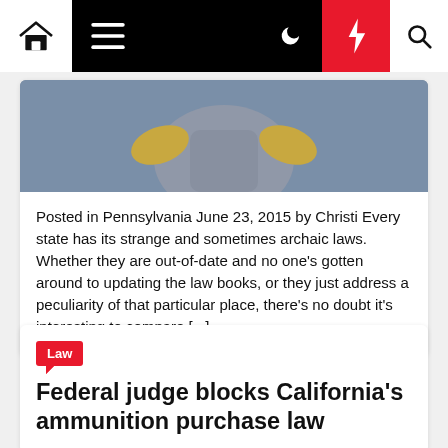Navigation bar with home, menu, moon, bolt, and search icons
[Figure (photo): Partial photo of a person in a grey jacket, cropped at top of card]
Posted in Pennsylvania June 23, 2015 by Christi Every state has its strange and sometimes archaic laws. Whether they are out-of-date and no one's gotten around to updating the law books, or they just address a peculiarity of that particular place, there's no doubt it's interesting to compare [...]
Law
Federal judge blocks California's ammunition purchase law